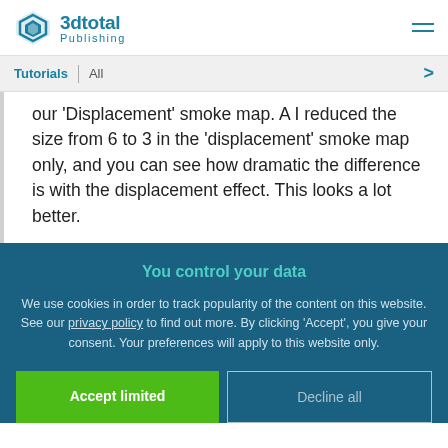3dtotal Publishing
Tutorials | All
our 'Displacement' smoke map. A I reduced the size from 6 to 3 in the 'displacement' smoke map only, and you can see how dramatic the difference is with the displacement effect. This looks a lot better.
You control your data
We use cookies in order to track popularity of the content on this website. See our privacy policy to find out more. By clicking 'Accept', you give your consent. Your preferences will apply to this website only.
Accept limited
Decline all